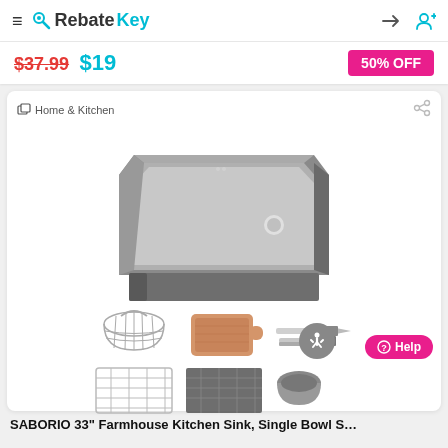RebateKey — Home & Kitchen product listing page
$37.99 $19
50% OFF
Home & Kitchen
[Figure (photo): SABORIO 33-inch farmhouse kitchen sink, single bowl, stainless steel with gunmetal grey finish. Shown with accessories: wire colander basket, bamboo cutting board, brush/knife set, bottom grid, rinse grid, and colander bowl.]
SABORIO 33" Farmhouse Kitchen Sink, Single Bowl S...